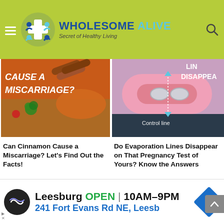WHOLESOME ALIVE — Secret of Healthy Living
[Figure (photo): Cinnamon sticks and spices on orange background with text 'Cause a Miscarriage?']
[Figure (photo): Pink pregnancy test with control line label and partial text 'Lines Disappear']
Can Cinnamon Cause a Miscarriage? Let's Find Out the Facts!
Do Evaporation Lines Disappear on That Pregnancy Test of Yours? Know the Answers
[Figure (photo): Partial image with yellow background showing meat and 'CAN I EAT' text]
[Figure (photo): Partial image showing person sleeping with text 'SLEEPING POSITIONS']
[Figure (other): Advertisement: Leesburg OPEN 10AM-9PM, 241 Fort Evans Rd NE, Leesb — navigation app ad]